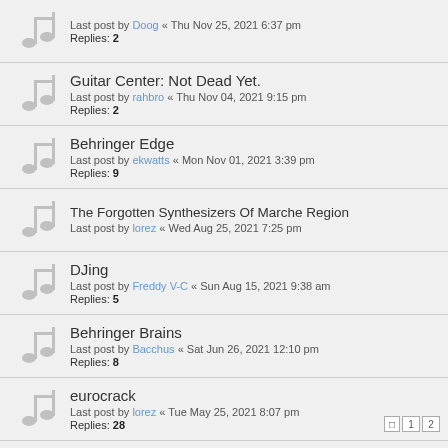Last post by Doog « Thu Nov 25, 2021 6:37 pm
Replies: 2
Guitar Center: Not Dead Yet.
Last post by rahbro « Thu Nov 04, 2021 9:15 pm
Replies: 2
Behringer Edge
Last post by ekwatts « Mon Nov 01, 2021 3:39 pm
Replies: 9
The Forgotten Synthesizers Of Marche Region
Last post by lorez « Wed Aug 25, 2021 7:25 pm
DJing
Last post by Freddy V-C « Sun Aug 15, 2021 9:38 am
Replies: 5
Behringer Brains
Last post by Bacchus « Sat Jun 26, 2021 12:10 pm
Replies: 8
eurocrack
Last post by lorez « Tue May 25, 2021 8:07 pm
Replies: 28
Another Eastman (non guitar) Electric Mandolin Porn
Last post by plopswagon « Thu Mar 11, 2021 1:30 pm
Replies: 2